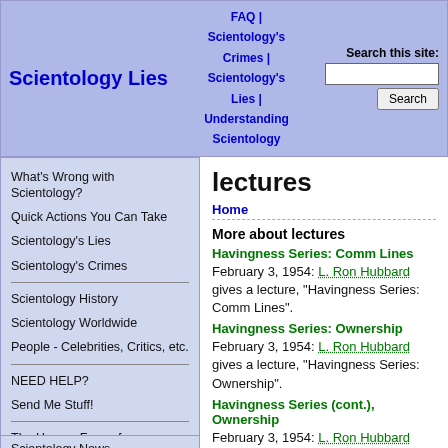Scientology Lies | FAQ | Scientology's Crimes | Scientology's Lies | Understanding Scientology | Search this site:
What's Wrong with Scientology?
Quick Actions You Can Take
Scientology's Lies
Scientology's Crimes
Scientology History
Scientology Worldwide
People - Celebrities, Critics, etc.
NEED HELP?
Send Me Stuff!
The Human Face of Scientology
If You're A Scientologist
Scientology News
lectures
Home
More about lectures
Havingness Series: Comm Lines
February 3, 1954: L. Ron Hubbard gives a lecture, "Havingness Series: Comm Lines".
Havingness Series: Ownership
February 3, 1954: L. Ron Hubbard gives a lecture, "Havingness Series: Ownership".
Havingness Series (cont.), Ownership
February 3, 1954: L. Ron Hubbard gives a lecture, 'Havingness Series (cont.), Ownership.'